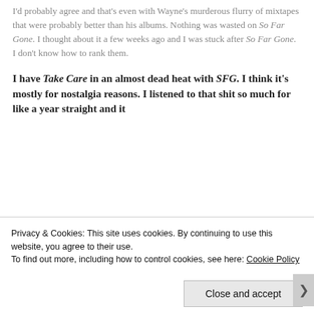I'd probably agree and that's even with Wayne's murderous flurry of mixtapes that were probably better than his albums. Nothing was wasted on So Far Gone. I thought about it a few weeks ago and I was stuck after So Far Gone. I don't know how to rank them.
I have Take Care in an almost dead heat with SFG. I think it's mostly for nostalgia reasons. I listened to that shit so much for like a year straight and it
Privacy & Cookies: This site uses cookies. By continuing to use this website, you agree to their use.
To find out more, including how to control cookies, see here: Cookie Policy
Close and accept